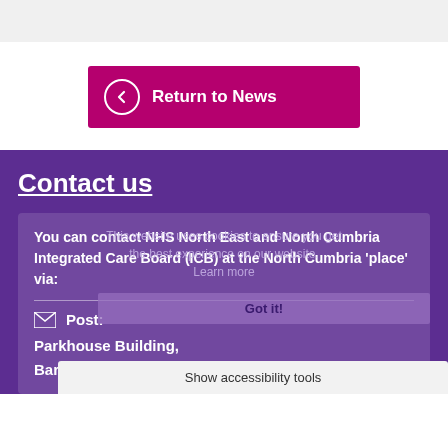[Figure (screenshot): Gray header bar at top of page]
Return to News
Contact us
You can contact NHS North East and North Cumbria Integrated Care Board (ICB) at the North Cumbria 'place' via:
Post:
Parkhouse Building
Baron Way